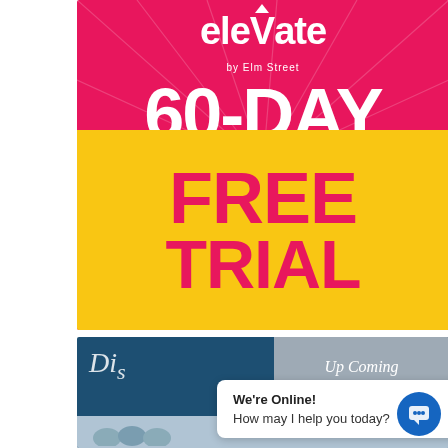[Figure (illustration): Elevate by Elm Street 60-Day Free Trial promotional advertisement. Pink/red background with white decorative radial lines. Large white text '60-DAY' at top, yellow rectangle in lower portion with hot-pink bold text 'FREE TRIAL'.]
[Figure (screenshot): Bottom portion of another promotional banner with dark blue background, cursive white script text partially visible ('Dis...'), gray panel overlay with 'Up Coming' italic text. A white chat bubble overlays reading 'We're Online! / How may I help you today?' with a blue circular chat icon on the right.]